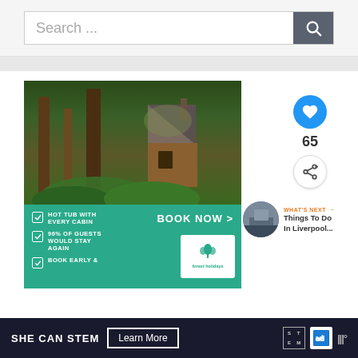[Figure (screenshot): Search bar with text 'Search ...' and a dark gray search button with magnifying glass icon on right]
[Figure (photo): Forest Holidays advertisement: forest cabin photo with teal panel showing 'HOT TUB WITH EVERY CABIN', '96% OF GUESTS WOULD STAY AGAIN', 'BOOK EARLY &...' checkmarks, 'BOOK NOW >' button, and Forest Holidays logo]
[Figure (infographic): Right sidebar with blue heart button, count 65, and share button. Below: 'WHAT'S NEXT' with thumbnail and 'Things To Do In Liverpool...' text]
[Figure (infographic): Bottom ad bar: 'SHE CAN STEM' with 'Learn More' button, STEM logo, ad logo, and millward brown icon]